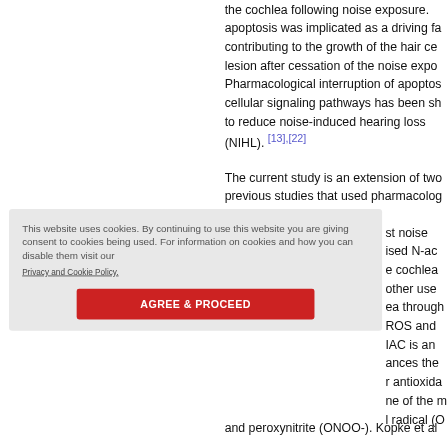the cochlea following noise exposure. apoptosis was implicated as a driving factor contributing to the growth of the hair cell lesion after cessation of the noise exposure. Pharmacological interruption of apoptotic cellular signaling pathways has been shown to reduce noise-induced hearing loss (NIHL). [13],[22]
The current study is an extension of two previous studies that used pharmacological interruptions to protect against noise ... used N-acetylcysteine ... the cochlea ... other uses ... ea through ... ROS and ... IAC is an ... ances the ... antioxida... one of the m... l radical (O... and peroxynitrite (ONOO-).
This website uses cookies. By continuing to use this website you are giving consent to cookies being used. For information on cookies and how you can disable them visit our
Privacy and Cookie Policy.
AGREE & PROCEED
and peroxynitrite (ONOO-). Kopke et al...